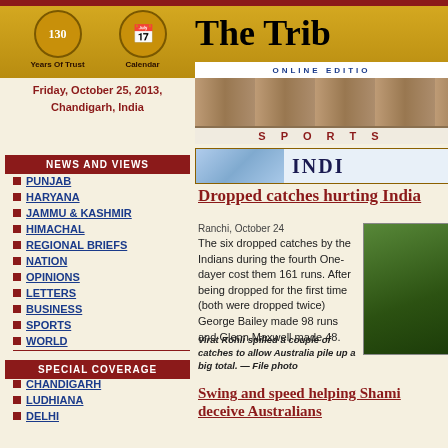The Tribune — ONLINE EDITION — 130 Years Of Trust — Calendar
Friday, October 25, 2013, Chandigarh, India
[Figure (photo): Sports banner with runners on a track and SPORTS label]
[Figure (photo): India section banner with world map graphic]
NEWS AND VIEWS
PUNJAB
HARYANA
JAMMU & KASHMIR
HIMACHAL
REGIONAL BRIEFS
NATION
OPINIONS
LETTERS
BUSINESS
SPORTS
WORLD
Dropped catches hurting India
Ranchi, October 24
The six dropped catches by the Indians during the fourth One-dayer cost them 161 runs. After being dropped for the first time (both were dropped twice) George Bailey made 98 runs and Glenn Maxwell made 48.
[Figure (photo): Cricket player photo]
Virat Kohli spilled a couple of catches to allow Australia pile up a big total. — File photo
Swing and speed helping Shami deceive Australians
SPECIAL COVERAGE
CHANDIGARH
LUDHIANA
DELHI